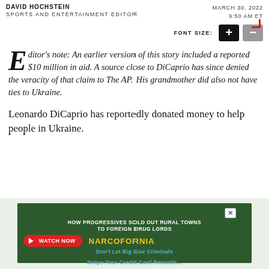DAVID HOCHSTEIN · SPORTS AND ENTERTAINMENT EDITOR · MARCH 30, 2022 · 9:50 AM ET
FONT SIZE: + −
Editor's note: An earlier version of this story included a reported $10 million in aid. A source close to DiCaprio has since denied the veracity of that claim to The AP. His grandmother did also not have ties to Ukraine.
Leonardo DiCaprio has reportedly donated money to help people in Ukraine.
[Figure (screenshot): Advertisement banner: 'HOW PROGRESSIVES SOLD OUT RURAL TOWNS TO FOREIGN DRUG LORDS' with NARCOFORNIA branding and a WATCH NOW button]